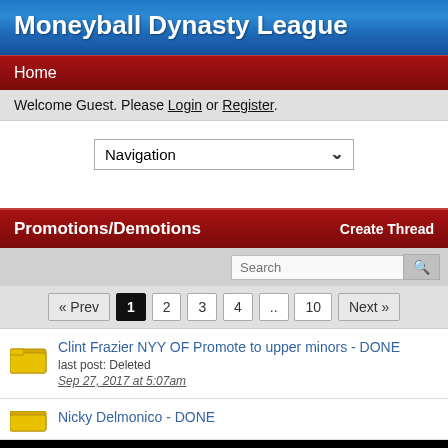Moneyball Dynasty League
Home
Welcome Guest. Please Login or Register.
Navigation
Promotions/Demotions   Create Thread
« Prev  1  2  3  4  ..  10  Next »
Clint Frazier NYY OF Promote to upper minors - DONE
last post: Deleted
Sep 27, 2017 at 5:07am
Nicky Delmonico - DONE